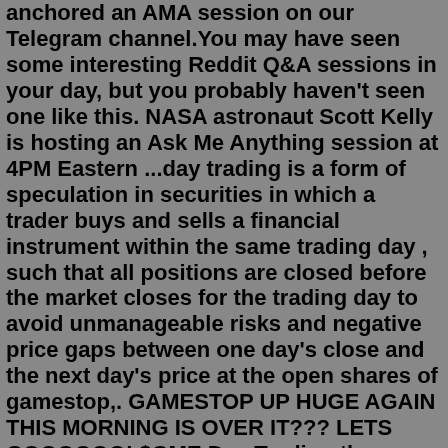anchored an AMA session on our Telegram channel.You may have seen some interesting Reddit Q&A sessions in your day, but you probably haven't seen one like this. NASA astronaut Scott Kelly is hosting an Ask Me Anything session at 4PM Eastern ...day trading is a form of speculation in securities in which a trader buys and sells a financial instrument within the same trading day , such that all positions are closed before the market closes for the trading day to avoid unmanageable risks and negative price gaps between one day's close and the next day's price at the open shares of gamestop,. GAMESTOP UP HUGE AGAIN THIS MORNING IS OVER IT??? LETS GOOOOOO! $GME Day Trading the Hottest Stocks in 2021 LIVE ON YOUTUBE! Learn More about the Interactiv... During the whole time of Cosmos monitoring, 87 events were added: 28 AMA sessions. 28 exchange events. 8 contests. 6 releases. 5 meetups. 4 hard forks. 3 conference participations. 2 events related to testing of new functions.Conclusion - One of the trusted channels to go in for good accuracy